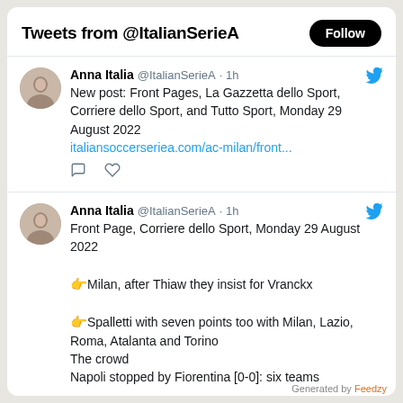Tweets from @ItalianSerieA
Anna Italia @ItalianSerieA · 1h
New post: Front Pages, La Gazzetta dello Sport, Corriere dello Sport, and Tutto Sport, Monday 29 August 2022
italiansoccerseriea.com/ac-milan/front...
Anna Italia @ItalianSerieA · 1h
Front Page, Corriere dello Sport, Monday 29 August 2022
👉 Milan, after Thiaw they insist for Vranckx
👉 Spalletti with seven points too with Milan, Lazio, Roma, Atalanta and Torino
The crowd
Napoli stopped by Fiorentina [0-0]: six teams
Generated by Feedzy